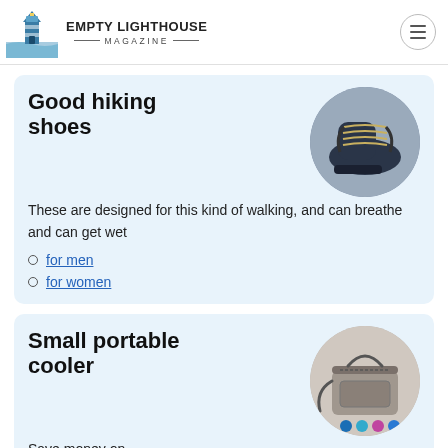EMPTY LIGHTHOUSE MAGAZINE
Good hiking shoes
[Figure (photo): Circular photo of dark navy hiking boots with rope/cord lacing]
These are designed for this kind of walking, and can breathe and can get wet
for men
for women
Small portable cooler
[Figure (photo): Circular photo of a grey portable cooler bag with shoulder strap and small colored accessories]
Save money on